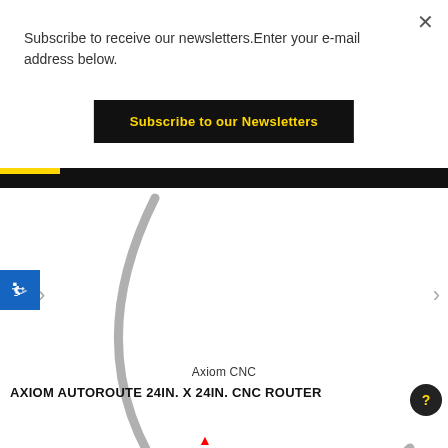Subscribe to receive our newsletters.Enter your e-mail address below.
Subscribe to our Newsletters
[Figure (screenshot): Black navigation bar with yellow strip at top, white product display area showing partial circular arc/ring shape of a CNC router product, accessibility button on left, navigation arrow on right]
Axiom CNC
AXIOM AUTOROUTE 24IN. X 24IN. CNC ROUTER